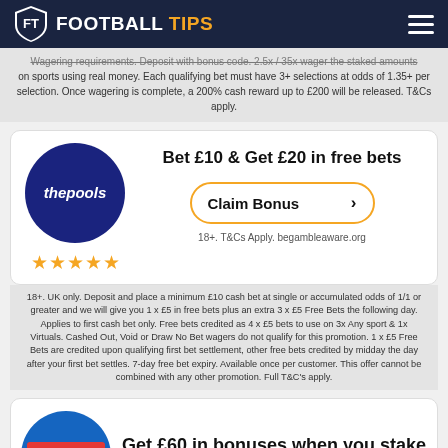FOOTBALL TIPS
Wagering requirements. Deposit with bonus code. Each wager the staked amounts on sports using real money. Each qualifying bet must have 3+ selections at odds of 1.35+ per selection. Once wagering is complete, a 200% cash reward up to £200 will be released. T&Cs apply.
[Figure (infographic): thepools logo in dark blue circle with white italic text]
Bet £10 & Get £20 in free bets
Claim Bonus
18+. T&Cs Apply. begambleaware.org
18+. UK only. Deposit and place a minimum £10 cash bet at single or accumulated odds of 1/1 or greater and we will give you 1 x £5 in free bets plus an extra 3 x £5 Free Bets the following day. Applies to first cash bet only. Free bets credited as 4 x £5 bets to use on 3x Any sport & 1x Virtuals. Cashed Out, Void or Draw No Bet wagers do not qualify for this promotion. 1 x £5 Free Bets are credited upon qualifying first bet settlement, other free bets credited by midday the day after your first bet settles. 7-day free bet expiry. Available once per customer. This offer cannot be combined with any other promotion. Full T&C's apply.
[Figure (logo): BETFRED logo in red rectangle on blue circle]
Get £60 in bonuses when you stake £10